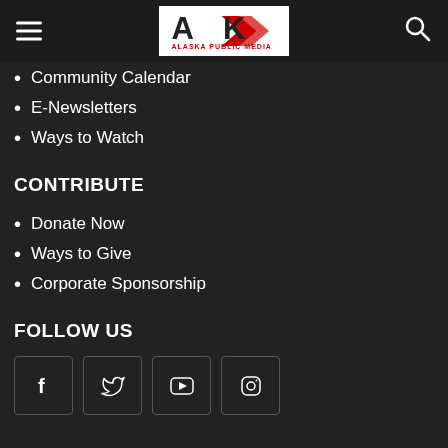Alaska Public Media
Community Calendar
E-Newsletters
Ways to Watch
CONTRIBUTE
Donate Now
Ways to Give
Corporate Sponsorship
FOLLOW US
[Figure (illustration): Social media icons: Facebook, Twitter, YouTube, Instagram]